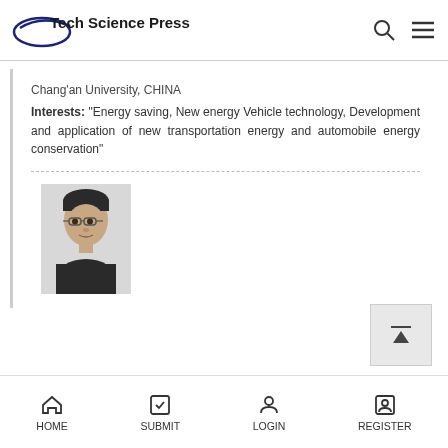Tech Science Press
Chang'an University, CHINA
Interests: "Energy saving, New energy Vehicle technology, Development and application of new transportation energy and automobile energy conservation"
[Figure (photo): Headshot photo of a man wearing glasses]
HOME  SUBMIT  LOGIN  REGISTER